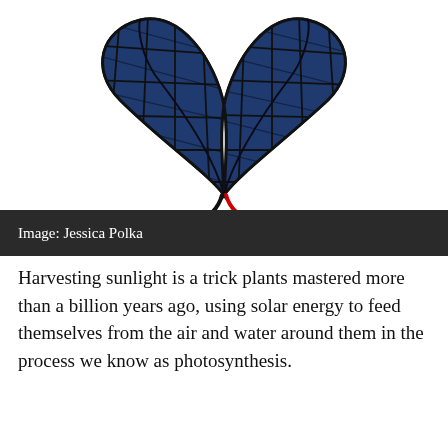[Figure (illustration): Illustration of a plant seedling with two leaves shaped like solar panels (dark blue with grid lines), connected by black and red wires to electrical connectors at the base, symbolizing solar energy harvesting. Image credit: Jessica Polka.]
Image: Jessica Polka
Harvesting sunlight is a trick plants mastered more than a billion years ago, using solar energy to feed themselves from the air and water around them in the process we know as photosynthesis.